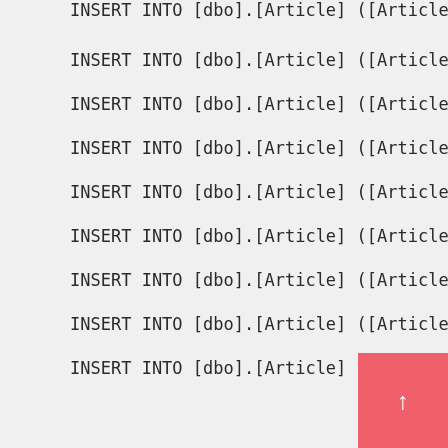INSERT INTO [dbo].[Article] ([ArticleId], [Ca
INSERT INTO [dbo].[Article] ([ArticleId], [Ca
INSERT INTO [dbo].[Article] ([ArticleId], [Ca
INSERT INTO [dbo].[Article] ([ArticleId], [Ca
INSERT INTO [dbo].[Article] ([ArticleId], [Ca
INSERT INTO [dbo].[Article] ([ArticleId], [Ca
INSERT INTO [dbo].[Article] ([ArticleId], [Ca
INSERT INTO [dbo].[Article] ([ArticleId], [Ca
INSERT INTO [dbo].[Article] ([ArticleId], [Article